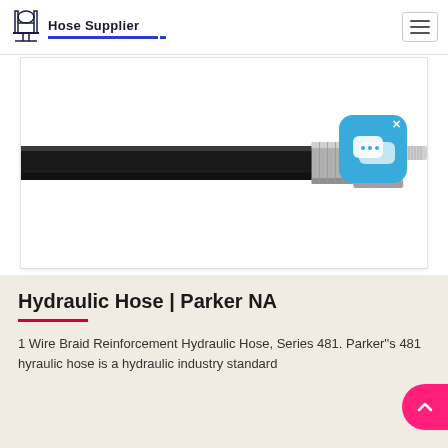Hose Supplier
[Figure (photo): A black hydraulic hose with a silver and red metal fitting/connector on the right end, photographed against a white background. A blue chat widget overlay appears in the top-right corner of the image.]
Hydraulic Hose | Parker NA
1 Wire Braid Reinforcement Hydraulic Hose, Series 481. Parker''s 481 hyraulic hose is a hydraulic industry standard